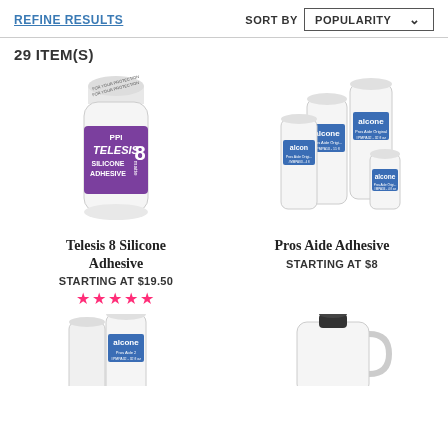REFINE RESULTS
SORT BY POPULARITY
29 ITEM(S)
[Figure (photo): Bottle of Telesis 8 Silicone Adhesive by PPI, white bottle with purple label]
Telesis 8 Silicone Adhesive
STARTING AT $19.50
★★★★★
[Figure (photo): Multiple bottles of Pros Aide Adhesive by Alcone, various sizes]
Pros Aide Adhesive
STARTING AT $8
[Figure (photo): Two bottles of Alcone Pros Aide 2 adhesive, partially visible at bottom left]
[Figure (photo): Large jug/container with black cap, partially visible at bottom right]